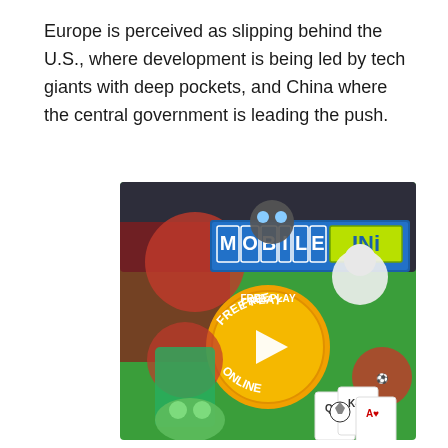Europe is perceived as slipping behind the U.S., where development is being led by tech giants with deep pockets, and China where the central government is leading the push.
[Figure (illustration): Mobile Ini gaming website banner showing various cartoon game characters including a warrior, a soccer-playing boy, a Santa Claus character, playing cards, and other game characters. In the center is an orange circle with a play button and text 'FREE PLAY ONLINE'. At the top is the 'MOBILE INI' logo in colorful block letters on a blue banner.]